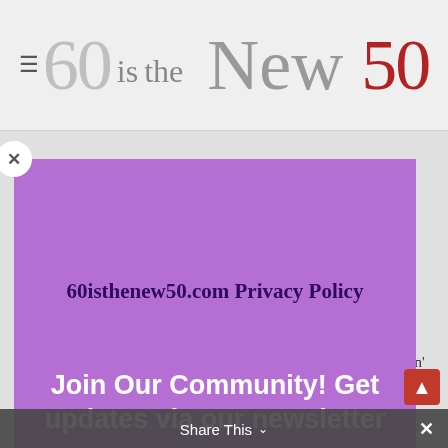60 is the New 50
[Figure (screenshot): Purple modal popup overlay with close button (X), title '60isthenew50.com Privacy Policy', and newsletter signup CTA 'Join Our Community! Get updates via our newsletter']
60isthenew50.com Privacy Policy
Join Our Community! Get updates via our newsletter
This privacy policy has been compiled to better serve those who are concerned with how their 'Personally Identifiable Information' (PII) is being used online. PII, as
Share This